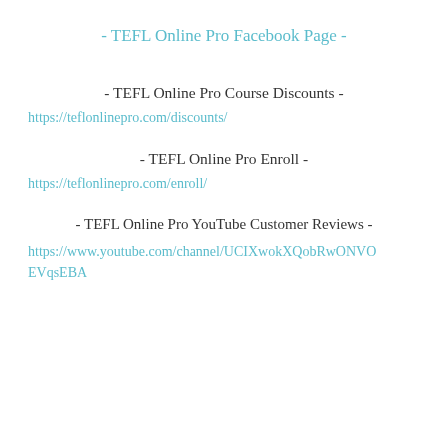- TEFL Online Pro Facebook Page -
- TEFL Online Pro Course Discounts -
https://teflonlinepro.com/discounts/
- TEFL Online Pro Enroll -
https://teflonlinepro.com/enroll/
- TEFL Online Pro YouTube Customer Reviews -
https://www.youtube.com/channel/UCIXwokXQobRwONVOEVqsEBA